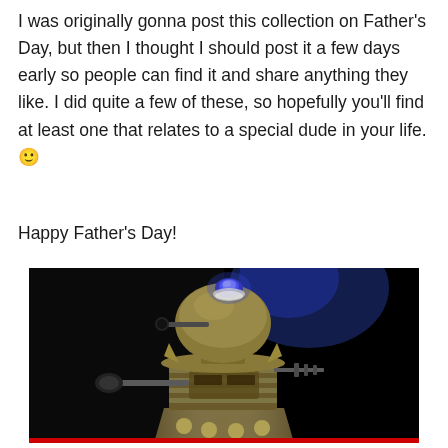I was originally gonna post this collection on Father's Day, but then I thought I should post it a few days early so people can find it and share anything they like. I did quite a few of these, so hopefully you'll find at least one that relates to a special dude in your life. 🙂
Happy Father's Day!
[Figure (photo): A Dalek robot from Doctor Who, rendered in bronze/metallic tones against a dark background with blue light on top. The Dalek has its plunger arm extended to the left and features the characteristic dome head, ribbed middle section, and spherical protrusions at the base. A red bar appears at the bottom of the image.]